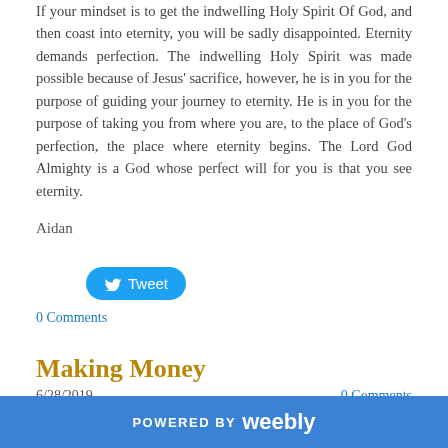If your mindset is to get the indwelling Holy Spirit Of God, and then coast into eternity, you will be sadly disappointed. Eternity demands perfection. The indwelling Holy Spirit was made possible because of Jesus' sacrifice, however, he is in you for the purpose of guiding your journey to eternity. He is in you for the purpose of taking you from where you are, to the place of God's perfection, the place where eternity begins. The Lord God Almighty is a God whose perfect will for you is that you see eternity.
Aidan
[Figure (other): Tweet button with Twitter bird icon]
0 Comments
Making Money
6/28/2019
0 Comments
Many of us are consumed with the idea of making money,
POWERED BY weebly